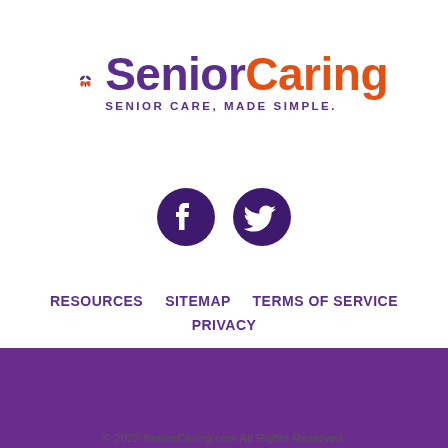[Figure (logo): SeniorCaring logo with butterfly/leaf icon in purple and orange, text 'SeniorCaring' with tagline 'SENIOR CARE, MADE SIMPLE.']
[Figure (illustration): Social media icons: Facebook and Twitter circles in dark purple]
RESOURCES    SITEMAP    TERMS OF SERVICE    PRIVACY
[Figure (illustration): Solid purple/violet horizontal bar]
© 2022 SeniorCaring.com All Rights Reserved.